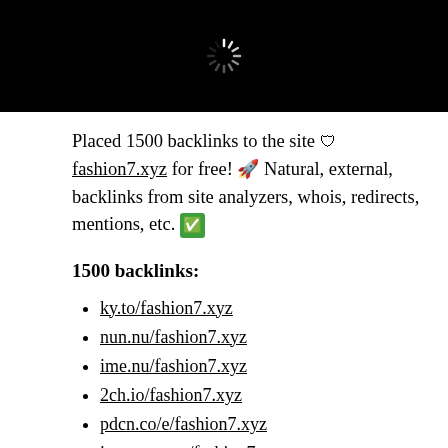[Figure (screenshot): Black bar with a loading spinner (white radial lines) centered on it]
Placed 1500 backlinks to the site 🛡 fashion7.xyz for free! 🚀 Natural, external, backlinks from site analyzers, whois, redirects, mentions, etc. ✅
1500 backlinks:
ky.to/fashion7.xyz
nun.nu/fashion7.xyz
ime.nu/fashion7.xyz
2ch.io/fashion7.xyz
pdcn.co/e/fashion7.xyz
imgops.com/fashion7.xyz
isitup.org/fashion7.xyz
pagecs.net/fashion7.xyz
j-page.biz/fashion7.xyz